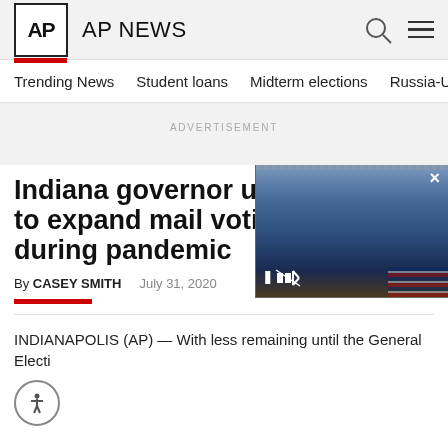AP NEWS
Trending News   Student loans   Midterm elections   Russia-Ukr
ADVERTISEMENT
Indiana governor urged to expand mail voting during pandemic
By CASEY SMITH   July 31, 2020
[Figure (photo): Video thumbnail showing a man in a suit speaking, with playback controls including pause and mute buttons, and a close button.]
INDIANAPOLIS (AP) — With less remaining until the General Electi